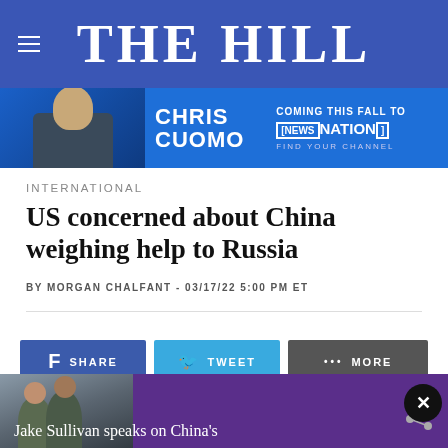THE HILL
[Figure (photo): Advertisement banner for Chris Cuomo coming to NewsNation this fall, with photo of Chris Cuomo]
INTERNATIONAL
US concerned about China weighing help to Russia
BY MORGAN CHALFANT - 03/17/22 5:00 PM ET
[Figure (screenshot): Social share bar with Facebook SHARE, Twitter TWEET, and MORE buttons]
[Figure (photo): Preview image at bottom showing two men, with caption beginning: Jake Sullivan speaks on China's...]